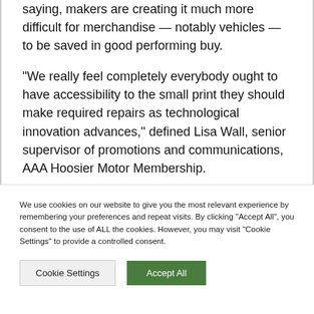saying, makers are creating it much more difficult for merchandise — notably vehicles — to be saved in good performing buy.
“We really feel completely everybody ought to have accessibility to the small print they should make required repairs as technological innovation advances,” defined Lisa Wall, senior supervisor of promotions and communications, AAA Hoosier Motor Membership.
We use cookies on our website to give you the most relevant experience by remembering your preferences and repeat visits. By clicking “Accept All”, you consent to the use of ALL the cookies. However, you may visit "Cookie Settings" to provide a controlled consent.